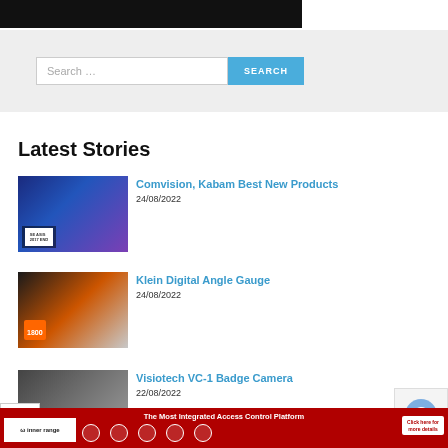[Figure (screenshot): Top black banner area partially visible]
[Figure (screenshot): Search bar with text 'Search ...' and blue SEARCH button on grey background]
Latest Stories
[Figure (photo): Person at podium on stage with blue lighting]
Comvision, Kabam Best New Products
24/08/2022
[Figure (photo): Klein Digital Angle Gauge product photo]
Klein Digital Angle Gauge
24/08/2022
[Figure (photo): Visiotech VC-1 Badge Camera product photo]
Visiotech VC-1 Badge Camera
22/08/2022
[Figure (infographic): Inner Range ad banner: The Most Integrated Access Control Platform with icons and Click here for more details button]